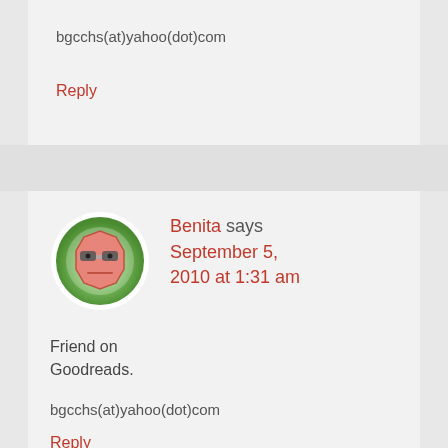bgcchs(at)yahoo(dot)com
Reply
[Figure (illustration): Cartoon avatar of a grumpy octagonal face with glasses, salmon/pink color, set in a circular green gradient background with white border]
Benita says September 5, 2010 at 1:31 am
Friend on Goodreads.
bgcchs(at)yahoo(dot)com
Reply